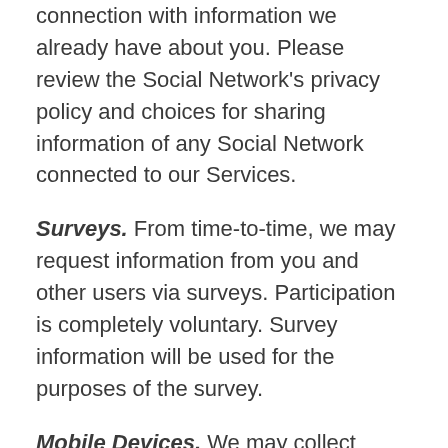connection with information we already have about you. Please review the Social Network's privacy policy and choices for sharing information of any Social Network connected to our Services.
Surveys. From time-to-time, we may request information from you and other users via surveys. Participation is completely voluntary. Survey information will be used for the purposes of the survey.
Mobile Devices. We may collect additional information from you if you access our Services through a mobile device; for example, your unique device identifier, device's operating